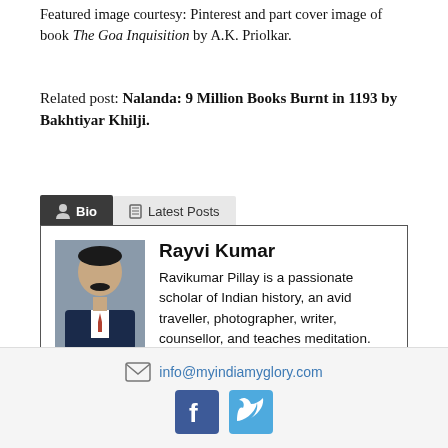Featured image courtesy: Pinterest and part cover image of book The Goa Inquisition by A.K. Priolkar.
Related post: Nalanda: 9 Million Books Burnt in 1193 by Bakhtiyar Khilji.
[Figure (other): Bio and Latest Posts tab navigation with author profile card showing Rayvi Kumar photo and description]
info@myindiamyglory.com